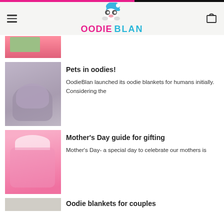OodieBlan - website header with logo and navigation
[Figure (photo): Partial image of a person in a pink oodie blanket, cropped at top]
Pets in oodies!
OodieBlan launched its oodie blankets for humans initially. Considering the
[Figure (photo): Dog (wrinkly bulldog/shar-pei) wearing a lavender oodie hoodie blanket]
Mother's Day guide for gifting
Mother's Day- a special day to celebrate our mothers is
[Figure (photo): Person wearing a bright pink oodie hoodie blanket with colorful patterns]
Oodie blankets for couples